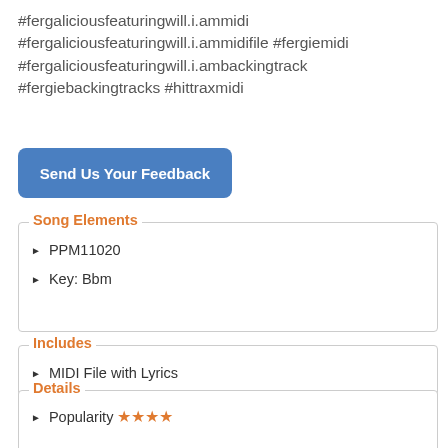#fergaliciousfeaturingwill.i.ammidi #fergaliciousfeaturingwill.i.ammidifile #fergiemidi #fergaliciousfeaturingwill.i.ambackingtrack #fergiebackingtracks #hittraxmidi
Send Us Your Feedback
Song Elements
PPM11020
Key: Bbm
Includes
MIDI File with Lyrics
Karaoke MIDI
MIDI Melody
Details
Popularity ★★★★